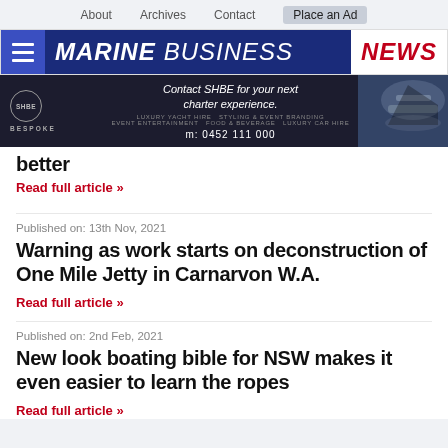About   Archives   Contact   Place an Ad
MARINE BUSINESS NEWS
[Figure (infographic): Advertisement banner for SHBE Bespoke Events: 'Contact SHBE for your next charter experience.' with yacht aerial photo, m: 0452 111 000]
better
Read full article »
Published on: 13th Nov, 2021
Warning as work starts on deconstruction of One Mile Jetty in Carnarvon W.A.
Read full article »
Published on: 2nd Feb, 2021
New look boating bible for NSW makes it even easier to learn the ropes
Read full article »